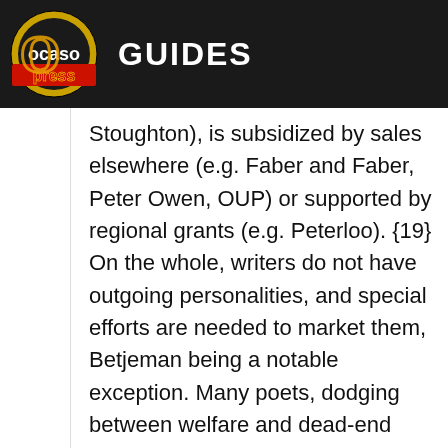ocaso press GUIDES
Stoughton), is subsidized by sales elsewhere (e.g. Faber and Faber, Peter Owen, OUP) or supported by regional grants (e.g. Peterloo). {19} On the whole, writers do not have outgoing personalities, and special efforts are needed to market them, Betjeman being a notable exception. Many poets, dodging between welfare and dead-end jobs, cultivate a hand-me-down appearance that establishes street cred but does nothing to inspire confidence in the larger